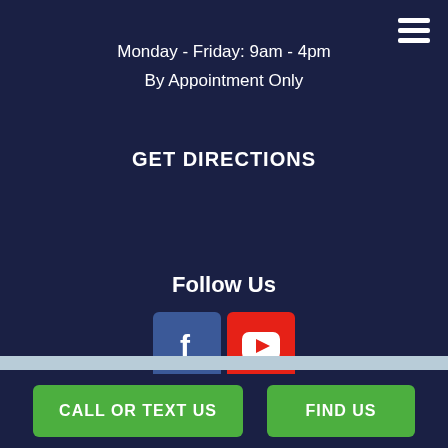Monday - Friday: 9am - 4pm
By Appointment Only
GET DIRECTIONS
Follow Us
[Figure (other): Social media icons: Facebook (blue square with white 'f') and YouTube (red square with white play button)]
CALL OR TEXT US
FIND US